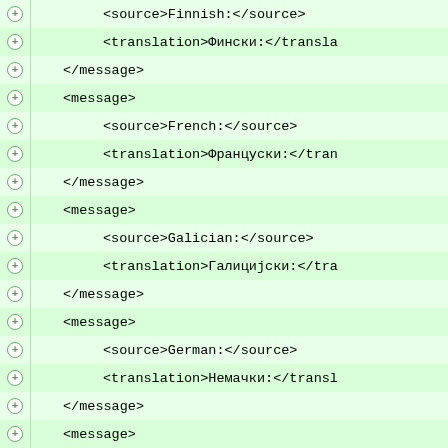<source>Finnish:</source>
<translation>Фински:</translation>
</message>
<message>
<source>French:</source>
<translation>Француски:</translation>
</message>
<message>
<source>Galician:</source>
<translation>Галицијски:</translation>
</message>
<message>
<source>German:</source>
<translation>Немачки:</translation>
</message>
<message>
<source>Hungarian:</source>
<translation>Мађарски:</translation>
</message>
<message>
<source>Italian:</source>
<translation>Италијански:</translation>
</message>
<message>